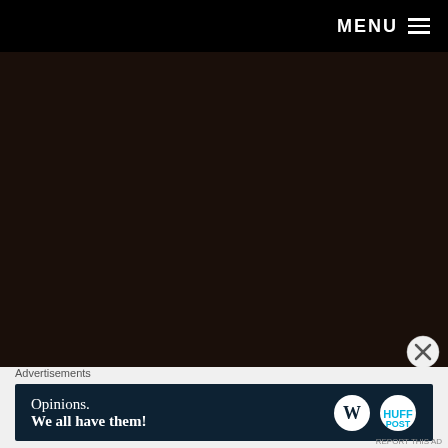MENU ≡
[Figure (photo): Dark, nearly black background image occupying the main content area of the page]
Advertisements
[Figure (screenshot): Advertisement banner with dark navy background reading 'Opinions. We all have them!' with WordPress and HuffPost logos on the right]
REPORT THIS AD